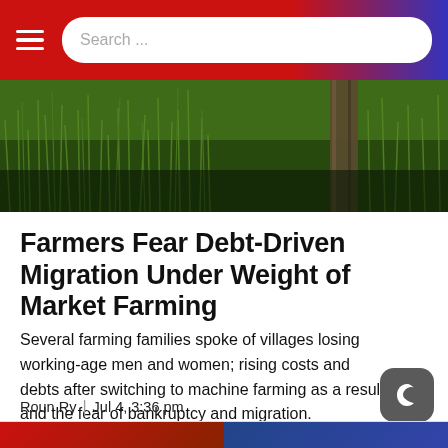Search ...
[Figure (photo): Dark green rice paddy field with tall grass, dark wooden post visible on right side]
Farmers Fear Debt-Driven Migration Under Weight of Market Farming
Several farming families spoke of villages losing working-age men and women; rising costs and debts after switching to machine farming as a result; and the fear of bankruptcy and migration.
Roun Ry  |  Jul 4, 3:36 pm